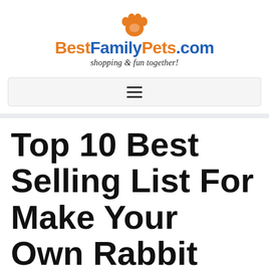[Figure (logo): BestFamilyPets.com logo with orange paw print above the text. 'Best' and 'Pets.com' in orange, 'Family' and '.com' in blue, with italic tagline 'shopping & fun together!' below.]
≡
Top 10 Best Selling List For Make Your Own Rabbit Hideaway